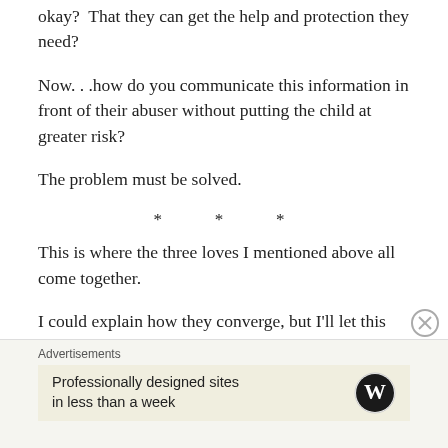okay? That they can get the help and protection they need?
Now...how do you communicate this information in front of their abuser without putting the child at greater risk?
The problem must be solved.
* * *
This is where the three loves I mentioned above all come together.
I could explain how they converge, but I'll let this very cool video do the work for me. It shows how the ANAR Foundation, (a child advocacy organization in Spain)
Advertisements
Professionally designed sites in less than a week